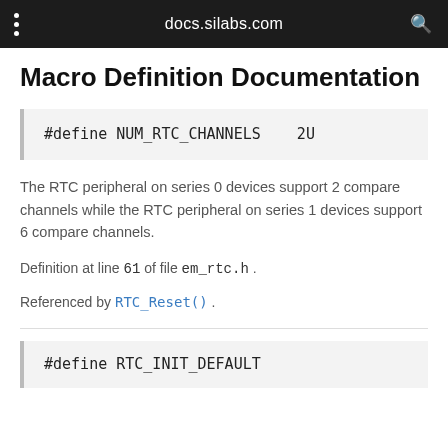docs.silabs.com
Macro Definition Documentation
#define NUM_RTC_CHANNELS   2U
The RTC peripheral on series 0 devices support 2 compare channels while the RTC peripheral on series 1 devices support 6 compare channels.
Definition at line 61 of file em_rtc.h .
Referenced by RTC_Reset() .
#define RTC_INIT_DEFAULT